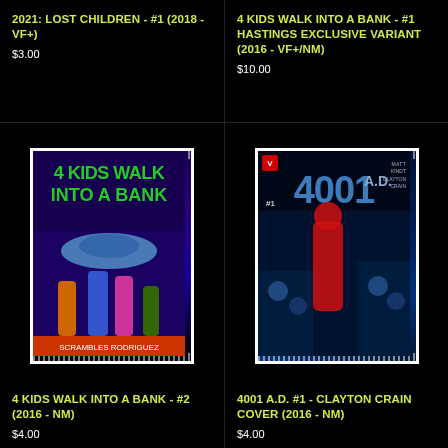2021: LOST CHILDREN - #1 (2018 - VF+)
$3.00
4 KIDS WALK INTO A BANK - #1 HASTINGS EXCLUSIVE VARIANT (2016 - VF+/NM)
$10.00
[Figure (photo): Comic book cover: 4 Kids Walk Into A Bank #2, showing animated-style characters with a spaceship, green title text on dark purple/blue background]
[Figure (photo): Comic book cover: 4001 A.D. #1 Clayton Crain Cover, showing a collage of sci-fi characters in blue tones with large '4001 A.D.' title text]
4 KIDS WALK INTO A BANK - #2 (2016 - NM)
$4.00
4001 A.D. #1 - CLAYTON CRAIN COVER (2016 - NM)
$4.00